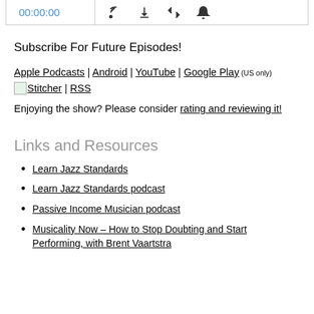[Figure (screenshot): Audio player bar showing timestamp 00:00:00 in blue, with RSS feed icon, download icon, code/embed icon, and notification bell icon]
Subscribe For Future Episodes!
Apple Podcasts | Android | YouTube | Google Play (US only) [Stitcher icon]Stitcher | RSS
Enjoying the show? Please consider rating and reviewing it!
Links and Resources
Learn Jazz Standards
Learn Jazz Standards podcast
Passive Income Musician podcast
Musicality Now – How to Stop Doubting and Start Performing, with Brent Vaartstra